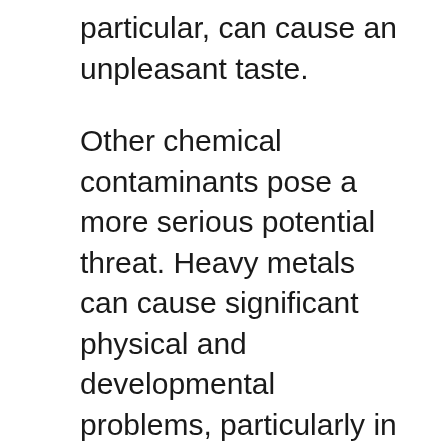particular, can cause an unpleasant taste.
Other chemical contaminants pose a more serious potential threat. Heavy metals can cause significant physical and developmental problems, particularly in children, with lead being one of the most potentially damaging.
PFAS, industrial chemicals, and agricultural runoff can all cause health issues with long-term exposure. Depending on the concentration, more acute symptoms may occur.
Thankfully we now have highly effective